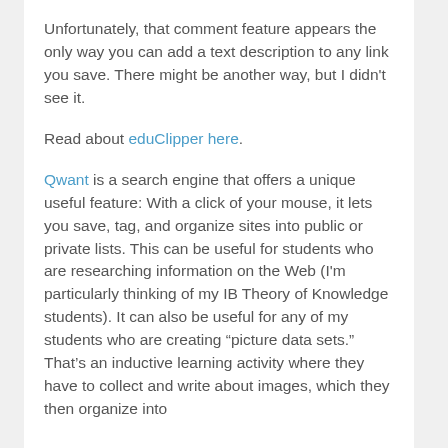Unfortunately, that comment feature appears the only way you can add a text description to any link you save. There might be another way, but I didn't see it.
Read about eduClipper here.
Qwant is a search engine that offers a unique useful feature: With a click of your mouse, it lets you save, tag, and organize sites into public or private lists. This can be useful for students who are researching information on the Web (I'm particularly thinking of my IB Theory of Knowledge students). It can also be useful for any of my students who are creating “picture data sets.” That’s an inductive learning activity where they have to collect and write about images, which they then organize into